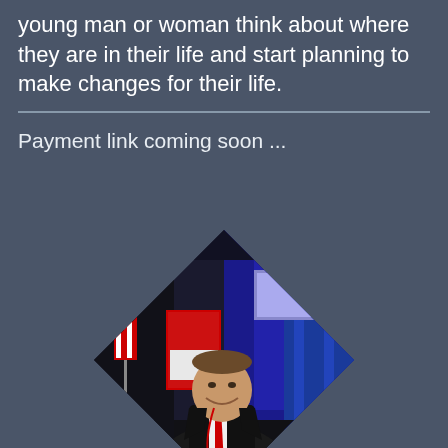young man or woman think about where they are in their life and start planning to make changes for their life.
Payment link coming soon ...
[Figure (photo): A man in a black suit with a red tie standing in front of a conference stage with Canadian flags and a red banner, displayed in a diamond-shaped crop]